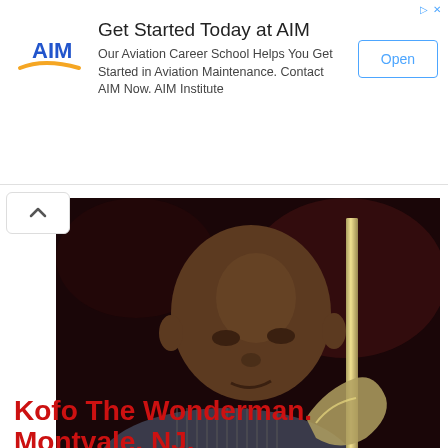[Figure (screenshot): Advertisement banner for AIM Aviation Career School with AIM logo, headline 'Get Started Today at AIM', body text about aviation maintenance, and an 'Open' button. Small ad icon top-right.]
[Figure (photo): Close-up photograph of a bald Black man playing a brass instrument (congas/percussion), wearing a striped shirt, looking downward. Dark background. Watermark reads '© Martin Cohen • congahead.com'. A caret/chevron collapse button is overlaid at top-left.]
Kofo The Wonderman. Montvale, NJ.